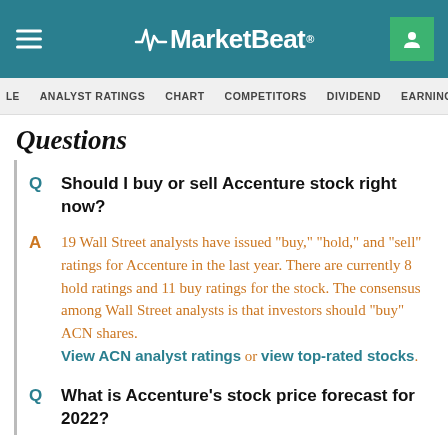MarketBeat
ANALYST RATINGS | CHART | COMPETITORS | DIVIDEND | EARNINGS
Questions
Q Should I buy or sell Accenture stock right now?
A 19 Wall Street analysts have issued "buy," "hold," and "sell" ratings for Accenture in the last year. There are currently 8 hold ratings and 11 buy ratings for the stock. The consensus among Wall Street analysts is that investors should "buy" ACN shares. View ACN analyst ratings or view top-rated stocks.
Q What is Accenture's stock price forecast for 2022?